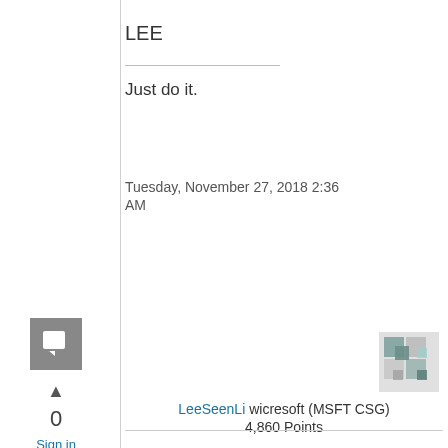LEE
Just do it.
Tuesday, November 27, 2018 2:36 AM
[Figure (illustration): User avatar for LeeSeenLi — grey/teal mosaic/puzzle piece icon]
LeeSeenLi wicresoft (MSFT CSG) 4,860 Points
[Figure (illustration): Grey square comment/reply button icon]
▲
0
Sign in to vote